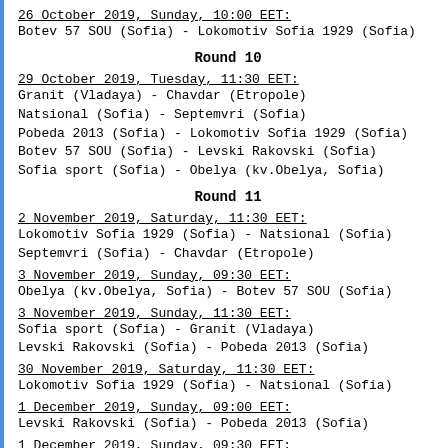26 October 2019, Sunday, 10:00 EET:
Botev 57 SOU (Sofia) - Lokomotiv Sofia 1929 (Sofia)
Round 10
29 October 2019, Tuesday, 11:30 EET:
Granit (Vladaya) - Chavdar (Etropole)
Natsional (Sofia) - Septemvri (Sofia)
Pobeda 2013 (Sofia) - Lokomotiv Sofia 1929 (Sofia)
Botev 57 SOU (Sofia) - Levski Rakovski (Sofia)
Sofia sport (Sofia) - Obelya (kv.Obelya, Sofia)
Round 11
2 November 2019, Saturday, 11:30 EET:
Lokomotiv Sofia 1929 (Sofia) - Natsional (Sofia)
Septemvri (Sofia) - Chavdar (Etropole)
3 November 2019, Sunday, 09:30 EET:
Obelya (kv.Obelya, Sofia) - Botev 57 SOU (Sofia)
3 November 2019, Sunday, 11:30 EET:
Sofia sport (Sofia) - Granit (Vladaya)
Levski Rakovski (Sofia) - Pobeda 2013 (Sofia)
30 November 2019, Saturday, 11:30 EET:
Lokomotiv Sofia 1929 (Sofia) - Natsional (Sofia)
1 December 2019, Sunday, 09:00 EET:
Levski Rakovski (Sofia) - Pobeda 2013 (Sofia)
1 December 2019, Sunday, 09:30 EET:
Obelya (kv.Obelya, Sofia) - Botev 57 SOU (Sofia)
1 December 2019, Sunday, 10:00 EET:
in kv.Boyana, Sofia, Natsionalna futbolna baza:
Sofia sport (Sofia) - Granit (Vladaya)